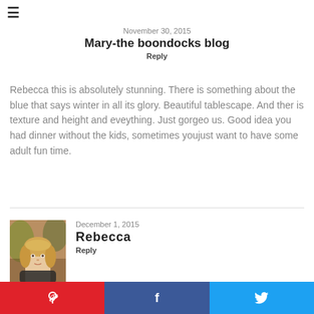≡
November 30, 2015
Mary-the boondocks blog
Reply
Rebecca this is absolutely stunning. There is something about the blue that says winter in all its glory. Beautiful tablescape. And ther is texture and height and eveything. Just gorgeo us. Good idea you had dinner without the kids, sometimes youjust want to have some adult fun time.
[Figure (photo): Portrait photo of Rebecca, a woman with light hair]
December 1, 2015
Rebecca
Reply
Thank you so much Mary. It was so fun to put together.
[Figure (infographic): Social share bar with Pinterest, Facebook, and Twitter buttons]